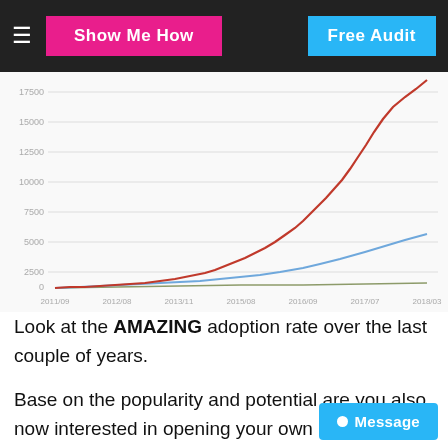Show Me How | Free Audit
[Figure (line-chart): Three-line chart showing exponential adoption growth over time. Red line grows steeply to ~17500, blue line grows moderately to ~4000, olive/gray line stays near zero. X-axis spans approximately 2011/09 to 2018/03.]
Look at the AMAZING adoption rate over the last couple of years.
Base on the popularity and potential are you also now interested in opening your own Shopify eCommerce Store?